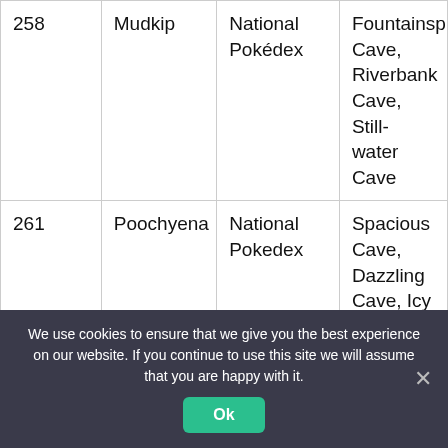| 258 | Mudkip | National Pokédex | Fountainspring Cave, Riverbank Cave, Still-water Cave |
| 261 | Poochyena | National Pokedex | Spacious Cave, Dazzling Cave, Icy Cave, Stargleam Cavern, |
We use cookies to ensure that we give you the best experience on our website. If you continue to use this site we will assume that you are happy with it.